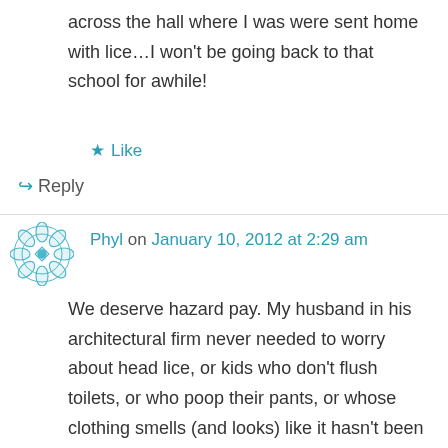across the hall where I was were sent home with lice…I won't be going back to that school for awhile!
★ Like
↪ Reply
Phyl on January 10, 2012 at 2:29 am
We deserve hazard pay. My husband in his architectural firm never needed to worry about head lice, or kids who don't flush toilets, or who poop their pants, or whose clothing smells (and looks) like it hasn't been washed in weeks, or who pick their noses and then touch all your stuff, etc. And of course its the dirtiest kids who want the hugs the most. In my school we've